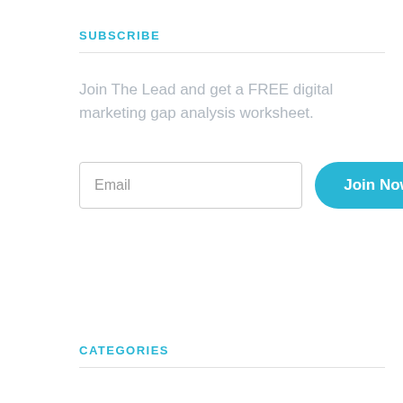SUBSCRIBE
Join The Lead and get a FREE digital marketing gap analysis worksheet.
[Figure (other): Email input field with placeholder text 'Email' and a 'Join Now' button]
CATEGORIES